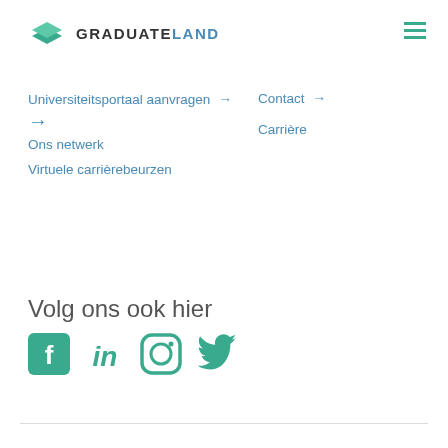[Figure (logo): Graduateland logo with green graduation cap icon and text GRADUATELAND]
Universiteitsportaal aanvragen →
Contact →
Carrière
Ons netwerk
Virtuele carrièrebeurzen
Volg ons ook hier
[Figure (illustration): Social media icons: Facebook, LinkedIn, Instagram, Twitter in green color]